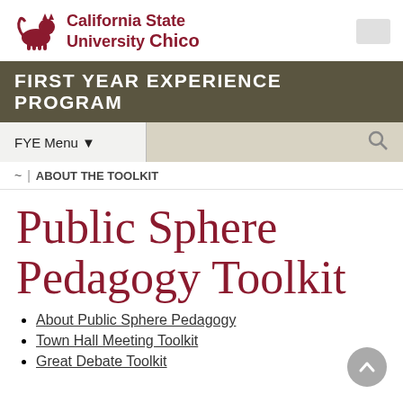[Figure (logo): California State University Chico wildcat logo with university name in dark red]
FIRST YEAR EXPERIENCE PROGRAM
FYE Menu
~ | ABOUT THE TOOLKIT
Public Sphere Pedagogy Toolkit
About Public Sphere Pedagogy
Town Hall Meeting Toolkit
Great Debate Toolkit